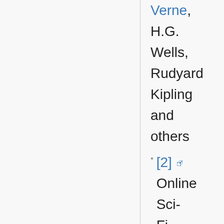Verne, H.G. Wells, Rudyard Kipling and others
[2] Online Sci-Fi at Litrix reading room,